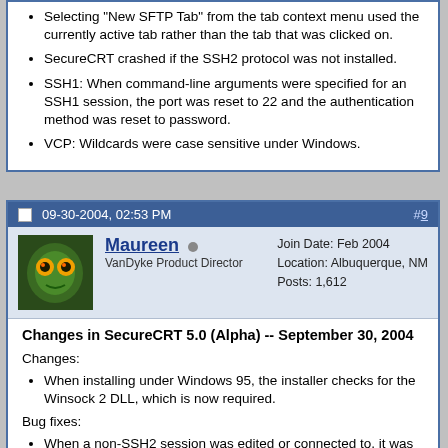Selecting "New SFTP Tab" from the tab context menu used the currently active tab rather than the tab that was clicked on.
SecureCRT crashed if the SSH2 protocol was not installed.
SSH1: When command-line arguments were specified for an SSH1 session, the port was reset to 22 and the authentication method was reset to password.
VCP: Wildcards were case sensitive under Windows.
09-30-2004, 02:53 PM   #9
Maureen
VanDyke Product Director
Join Date: Feb 2004
Location: Albuquerque, NM
Posts: 1,612
Changes in SecureCRT 5.0 (Alpha) -- September 30, 2004
Changes:
When installing under Windows 95, the installer checks for the Winsock 2 DLL, which is now required.
Bug fixes:
When a non-SSH2 session was edited or connected to, it was converted to an SSH2 session.
SecureCRT crashed when the serial protocol was